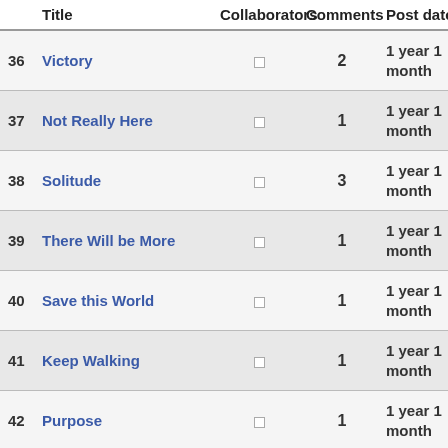|  | Title | Collaborators | Comments | Post date |
| --- | --- | --- | --- | --- |
| 36 | Victory | □ | 2 | 1 year 1 month |
| 37 | Not Really Here | □ | 1 | 1 year 1 month |
| 38 | Solitude | □ | 3 | 1 year 1 month |
| 39 | There Will be More | □ | 1 | 1 year 1 month |
| 40 | Save this World | □ | 1 | 1 year 1 month |
| 41 | Keep Walking | □ | 1 | 1 year 1 month |
| 42 | Purpose | □ | 1 | 1 year 1 month |
| 43 | Walls Up | □ | 1 | 1 year 4 weeks |
| 44 | Normal | □ | 1 | 1 year 4 weeks |